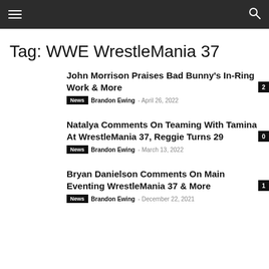≡  🔍
Tag: WWE WrestleMania 37
John Morrison Praises Bad Bunny's In-Ring Work & More
News  Brandon Ewing  –  April 26, 2022  2
Natalya Comments On Teaming With Tamina At WrestleMania 37, Reggie Turns 29
News  Brandon Ewing  –  March 13, 2022  0
Bryan Danielson Comments On Main Eventing WrestleMania 37 & More
News  Brandon Ewing  –  December 22, 2021  1